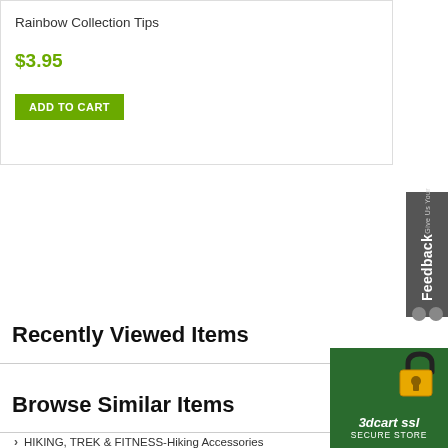Rainbow Collection Tips
$3.95
ADD TO CART
[Figure (other): Feedback tab widget on the right side with 'Give Us Your Feedback' text vertically oriented]
Recently Viewed Items
TURN HISTORY OFF
Browse Similar Items
HIKING, TREK & FITNESS-Hiking Accessories
All products
[Figure (other): 3dcart SSL Secure Store badge with gold padlock icon on green background]